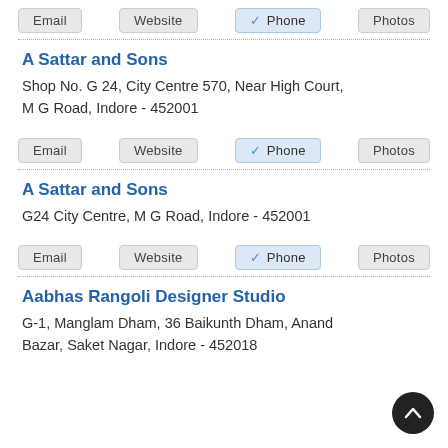Email | Website | ✓ Phone | Photos
A Sattar and Sons
Shop No. G 24, City Centre 570, Near High Court, M G Road, Indore - 452001
Email | Website | ✓ Phone | Photos
A Sattar and Sons
G24 City Centre, M G Road, Indore - 452001
Email | Website | ✓ Phone | Photos
Aabhas Rangoli Designer Studio
G-1, Manglam Dham, 36 Baikunth Dham, Anand Bazar, Saket Nagar, Indore - 452018